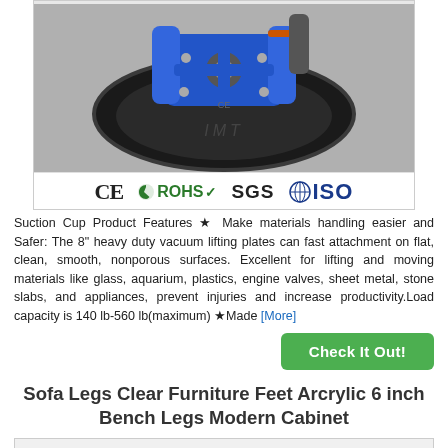[Figure (photo): Photo of a blue and black heavy duty vacuum suction cup lifter viewed from above, with CE, RoHS, SGS, and ISO certification logos at the bottom of the image.]
Suction Cup Product Features ★ Make materials handling easier and Safer: The 8" heavy duty vacuum lifting plates can fast attachment on flat, clean, smooth, nonporous surfaces. Excellent for lifting and moving materials like glass, aquarium, plastics, engine valves, sheet metal, stone slabs, and appliances, prevent injuries and increase productivity.Load capacity is 140 lb-560 lb(maximum) ★Made [More]
Check It Out!
Sofa Legs Clear Furniture Feet Arcrylic 6 inch Bench Legs Modern Cabinet
[Figure (photo): Bottom portion of product image for Sofa Legs Clear Furniture Feet Arcrylic 6 inch Bench Legs Modern Cabinet, partially visible.]